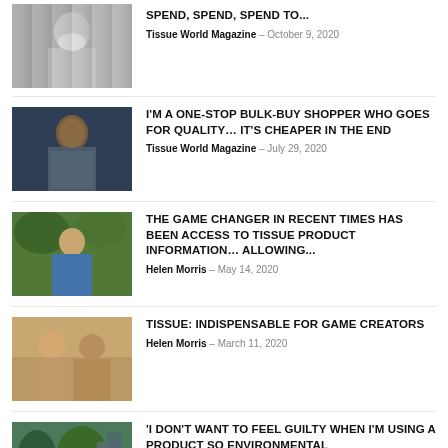[Figure (photo): Person wearing a white face mask, black and white background]
spend, spend, spend to...
Tissue World Magazine – October 9, 2020
[Figure (photo): Young Black man smiling, dark background]
I'M A ONE-STOP BULK-BUY SHOPPER WHO GOES FOR QUALITY… IT'S CHEAPER IN THE END
Tissue World Magazine – July 29, 2020
[Figure (photo): Middle-aged man outdoors in a garden setting wearing blue top]
THE GAME CHANGER IN RECENT TIMES HAS BEEN ACCESS TO TISSUE PRODUCT INFORMATION… ALLOWING...
Helen Morris – May 14, 2020
[Figure (photo): Two people smiling indoors, warm tones]
TISSUE: INDISPENSABLE FOR GAME CREATORS
Helen Morris – March 11, 2020
[Figure (photo): Outdoor scene with green trees and buildings]
'I DON'T WANT TO FEEL GUILTY WHEN I'M USING A PRODUCT SO ENVIRONMENTAL RESPONSIBILITY...